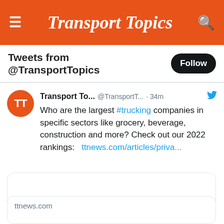Transport Topics
Tweets from @TransportTopics
Follow
Transport To... @TransportT... · 34m
Who are the largest #trucking companies in specific sectors like grocery, beverage, construction and more? Check out our 2022 rankings:   ttnews.com/articles/priva...
ttnews.com